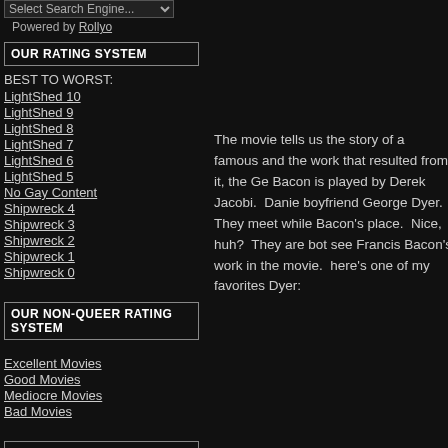Powered by Rollyo
OUR RATING SYSTEM
BEST TO WORST:
LightShed 10
LightShed 9
LightShed 8
LightShed 7
LightShed 6
LightShed 5
No Gay Content
Shipwreck 4
Shipwreck 3
Shipwreck 2
Shipwreck 1
Shipwreck 0
OUR NON-QUEER RATING SYSTEM
Excellent Movies
Good Movies
Mediocre Movies
Bad Movies
BROWSE MOVIES BY TYPE OF CONTENT
Gay Content
The movie tells us the story of a famous and the work that resulted from it, the Ge Bacon is played by Derek Jacobi. Danie boyfriend George Dyer. They meet while Bacon's place. Nice, huh? They are bot see Francis Bacon's work in the movie. here's one of my favorites Dyer: